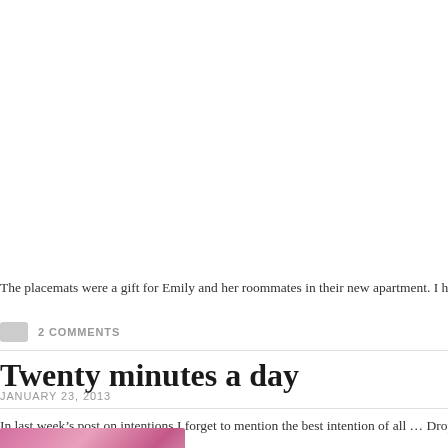The placemats were a gift for Emily and her roommates in their new apartment. I hope
2 COMMENTS
Twenty minutes a day
JANUARY 23, 2013
In last week’s post on intentions I forget to mention the best intention of all … Drop a
[Figure (photo): Pink/magenta glittery decorative image, partially visible at bottom of page]